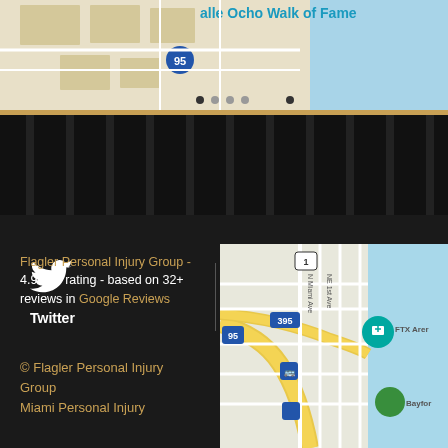[Figure (map): Top partial Google Maps view showing area with highway 95 and surrounding streets]
[Figure (photo): Dark textured background image of a building interior/exterior]
Twitter
Facebook
Flagler Personal Injury Group - 4.9 star rating - based on 32+ reviews in Google Reviews
© Flagler Personal Injury Group
Miami Personal Injury
[Figure (map): Google Maps view showing downtown Miami area with highways 95, 395, FTX Arena, NE 1st Ave, N Miami Ave, Bayfront area]